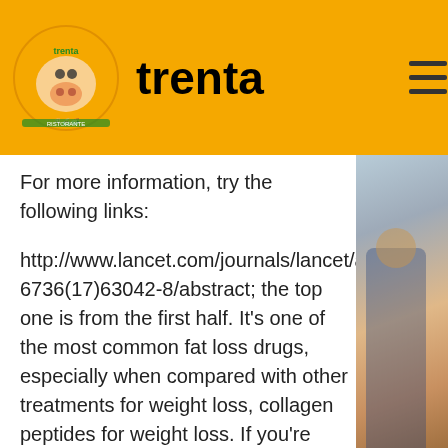trenta
For more information, try the following links:
http://www.lancet.com/journals/lancet/article/PIIS0140-6736(17)63042-8/abstract; the top one is from the first half. It's one of the most common fat loss drugs, especially when compared with other treatments for weight loss, collagen peptides for weight loss. If you're interested in going one step further, try the following:
http://www, collagen peptides after weight loss surgery.sciencedirect, collagen peptides after weight loss surgery.com/science/article/pii/S0138013900290628 and http://www, collagen peptides after weight loss surgery.ncbi, collagen